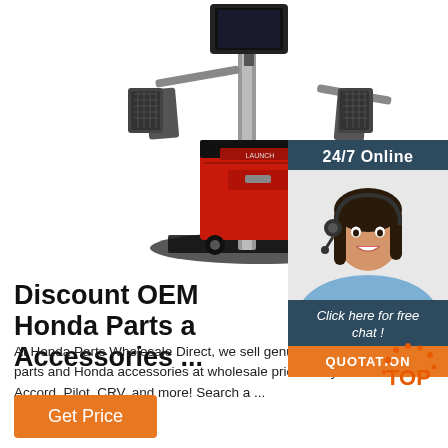[Figure (photo): Red and black automotive wheel alignment machine with a tall vertical column, monitor on top, sensors/clamps on sides, and a mobile cart base]
[Figure (infographic): 24/7 Online chat widget showing a smiling female customer service agent wearing a headset, with dark blue header '24/7 Online', italic text 'Click here for free chat!', and an orange 'QUOTATION' button]
Discount OEM Honda Parts a Accessories ...
At Honda Parts Wholesale Direct, we sell genuine OEM Honda parts and Honda accessories at wholesale prices for your Civic, Accord, Pilot, CRV, and more! Search a ...
[Figure (logo): TOP badge logo with orange/red dots around 'TOP' text]
Get Price